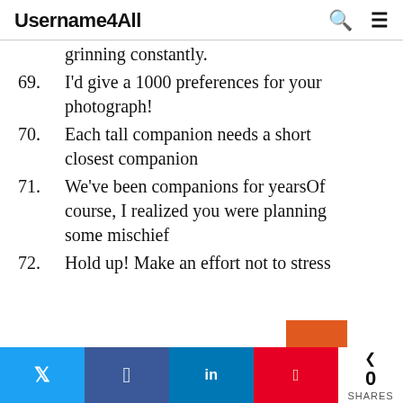Username4All
grinning constantly.
69. I'd give a 1000 preferences for your photograph!
70. Each tall companion needs a short closest companion
71. We've been companions for yearsOf course, I realized you were planning some mischief
72. Hold up! Make an effort not to stress